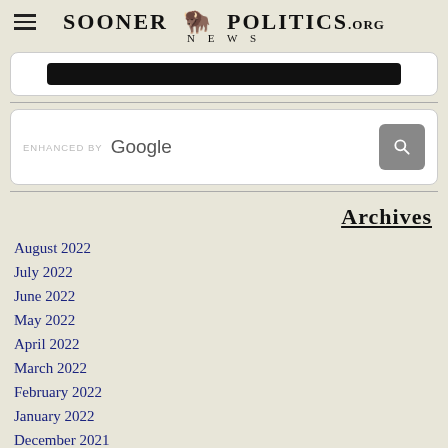Sooner Politics News .org
[Figure (screenshot): Dark button/bar inside a white rounded rectangle box]
[Figure (screenshot): Enhanced by Google search bar with search button]
Archives
August 2022
July 2022
June 2022
May 2022
April 2022
March 2022
February 2022
January 2022
December 2021